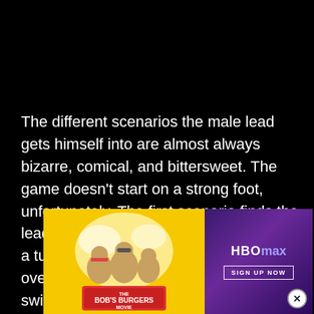[Figure (other): Dark/black image area at top of page (video or image content area)]
The different scenarios the male lead gets himself into are almost always bizarre, comical, and bittersweet. The game doesn't start on a strong foot, unfortunately. The first scenario finds the lead d in a tux her over ch, swi ng tight lyly h his
[Figure (other): Advertisement overlay: Left side shows Bob's Burgers Movie promotional image on yellow background. Right side shows HBO Max advertisement with purple gradient background, HBO Max logo, and 'SIGN UP NOW' button. Close (X) button in bottom right corner.]